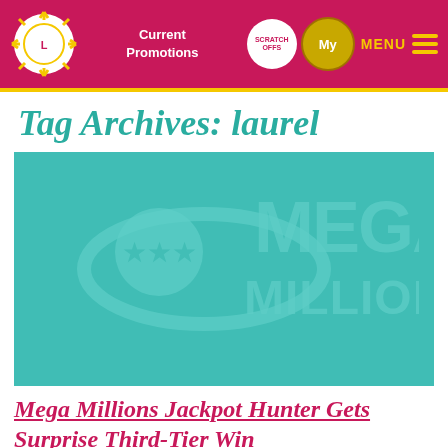Current Promotions | SCRATCH OFFS | My Lottery Rewards | MENU
Tag Archives: laurel
[Figure (logo): Mega Millions lottery logo on teal background — large stylized text MEGA MILLIONS with star-circle emblem]
Mega Millions Jackpot Hunter Gets Surprise Third-Tier Win